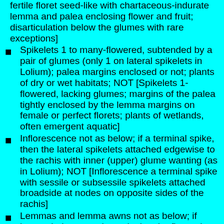fertile floret seed-like with chartaceous-indurate lemma and palea enclosing flower and fruit; disarticulation below the glumes with rare exceptions]
Spikelets 1 to many-flowered, subtended by a pair of glumes (only 1 on lateral spikelets in Lolium); palea margins enclosed or not; plants of dry or wet habitats; NOT [Spikelets 1-flowered, lacking glumes; margins of the palea tightly enclosed by the lemma margins on female or perfect florets; plants of wetlands, often emergent aquatic]
Inflorescence not as below; if a terminal spike, then the lateral spikelets attached edgewise to the rachis with inner (upper) glume wanting (as in Lolium); NOT [Inflorescence a terminal spike with sessile or subsessile spikelets attached broadside at nodes on opposite sides of the rachis]
Lemmas and lemma awns not as below; if lemma indurate and enveloping the floret, then glumes distinctly dorsally compressed and calluses glabrous (as in Milium); NOT [Lemmas stiff to indurate, firmer than the glumes, surrounding the palea and often overlapping the edges; lemma awns often present; calluses]